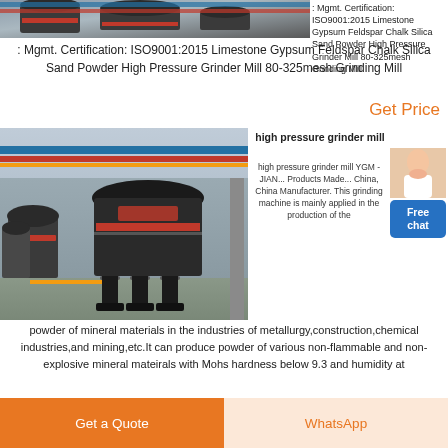[Figure (photo): Industrial grinding mill machine in a factory hall, partial top view]
: Mgmt. Certification: ISO9001:2015 Limestone Gypsum Feldspar Chalk Silica Sand Powder High Pressure Grinder Mill 80-325mesh Grinding Mill
Get Price
[Figure (photo): High pressure grinder mill machine standing in an industrial hall with concrete floor and pipes overhead]
high pressure grinder mill
high pressure grinder mill YGM - JIAN... Products Made... China, China Manufacturer. This grinding machine is mainly applied in the production of the powder of mineral materials in the industries of metallurgy,construction,chemical industries,and mining,etc.It can produce powder of various non-flammable and non-explosive mineral mateirals with Mohs hardness below 9.3 and humidity at
Get a Quote
WhatsApp